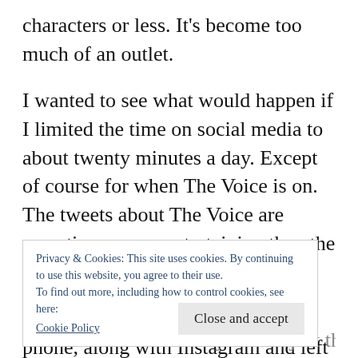characters or less. It's become too much of an outlet.
I wanted to see what would happen if I limited the time on social media to about twenty minutes a day. Except of course for when The Voice is on. The tweets about The Voice are sometimes more entertaining than the show itself.
So I deleted Facebook from my phone, along with Instagram and left only Twitter. Same with the iPad. On the commute too work on Monday I wrote two blog posts in the Notes app on the iPad. I uploaded them on
Privacy & Cookies: This site uses cookies. By continuing to use this website, you agree to their use.
To find out more, including how to control cookies, see here:
Cookie Policy
Close and accept
seem out of the ordinary. It was just there. I ended up